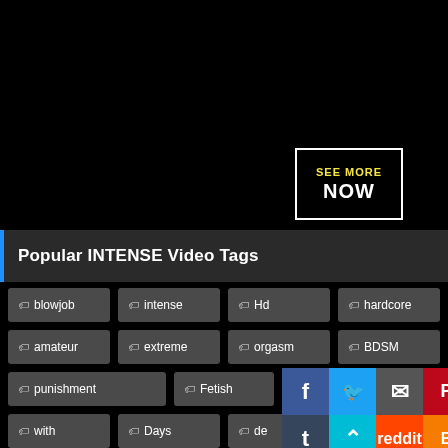[Figure (screenshot): Black video player area with a 'SEE MORE NOW' button in the lower right area]
Popular INTENSE Video Tags
blowjob
intense
Hd
hardcore
amateur
extreme
orgasm
BDSM
punishment
Fetish
teen
with
Days
de
rough
[Figure (screenshot): Social media sharing icons overlay: Facebook, Twitter, Email, Pinterest, Tumblr, scroll-to-top, Reddit, Blogger, WordPress, VK, More]